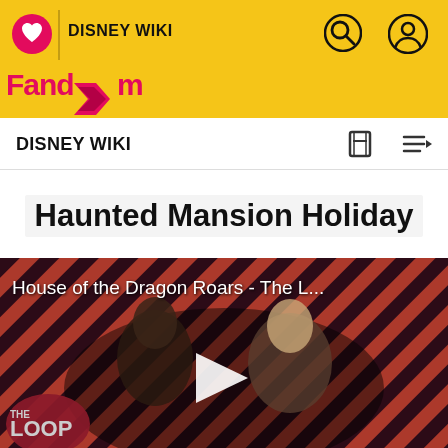DISNEY WIKI
DISNEY WIKI
Haunted Mansion Holiday
[Figure (screenshot): Video thumbnail for 'House of the Dragon Roars - The L...' with diagonal red and black stripe background, two characters in center, play button overlay, and THE LOOP logo in lower left]